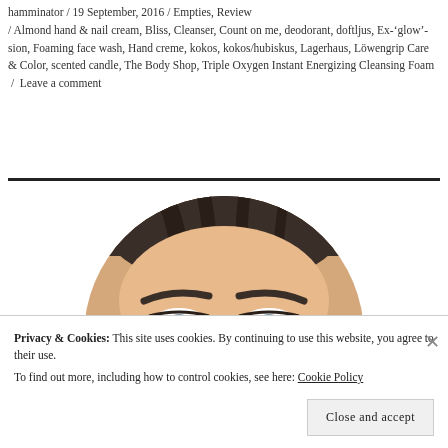hamminator / 19 September, 2016 / Empties, Review / Almond hand & nail cream, Bliss, Cleanser, Count on me, deodorant, doftljus, Ex-'glow'-sion, Foaming face wash, Hand creme, kokos, kokos/hubiskus, Lagerhaus, Löwengrip Care & Color, scented candle, The Body Shop, Triple Oxygen Instant Energizing Cleansing Foam / Leave a comment
[Figure (photo): Circular cropped photo showing close-up of a woman's face, eyes looking up, with dark eyebrows and blue-grey eyes, dark hair visible at top]
Privacy & Cookies: This site uses cookies. By continuing to use this website, you agree to their use.
To find out more, including how to control cookies, see here: Cookie Policy